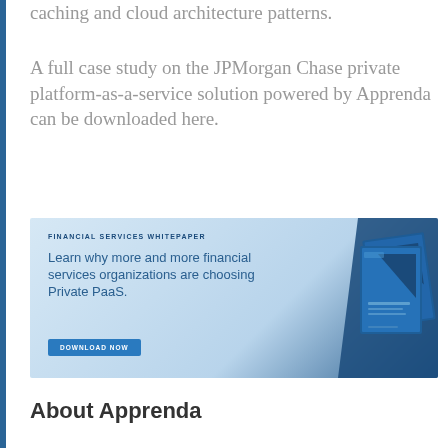caching and cloud architecture patterns.
A full case study on the JPMorgan Chase private platform-as-a-service solution powered by Apprenda can be downloaded here.
[Figure (infographic): Financial Services Whitepaper banner advertisement for Apprenda. Text reads: FINANCIAL SERVICES WHITEPAPER. Learn why more and more financial services organizations are choosing Private PaaS. DOWNLOAD NOW button. Shows images of blue booklets/whitepapers on the right side.]
About Apprenda